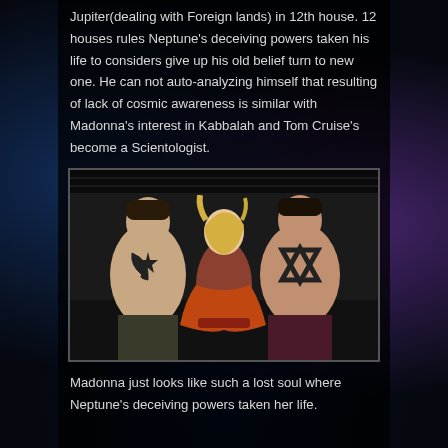Jupiter(dealing with Foreign lands) in 12th house. 12 houses rules Neptune's deceiving powers taken his life to considers give up his old belief turn to new one. He can not auto-analyzing himself that resulting of lack of cosmic awareness is similar with Madonna's interest in Kabbalah and Tom Cruise's become a Scientologist.
[Figure (photo): Three people posing: two shirtless muscular men flanking a blonde woman in red. The man on the left has a crescent and star tattoo on his chest; the man on the right has a Star of David tattoo on his chest.]
Madonna just looks like such a lost soul where Neptune's deceiving powers taken her life.